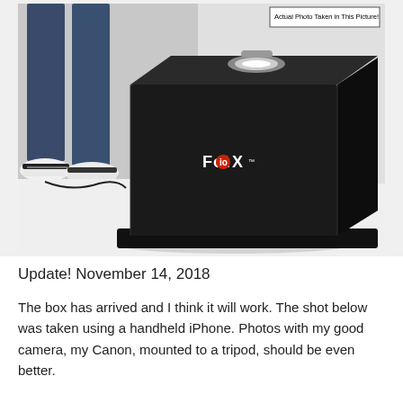[Figure (photo): A black photography lightbox (FotodioX branded) sitting on a white floor, with a person in jeans and sneakers standing behind it. The top of the box has a bright LED light visible. An annotation box in the top right corner reads 'Actual Photo Taken in This Picture!']
Update! November 14, 2018
The box has arrived and I think it will work. The shot below was taken using a handheld iPhone. Photos with my good camera, my Canon, mounted to a tripod, should be even better.